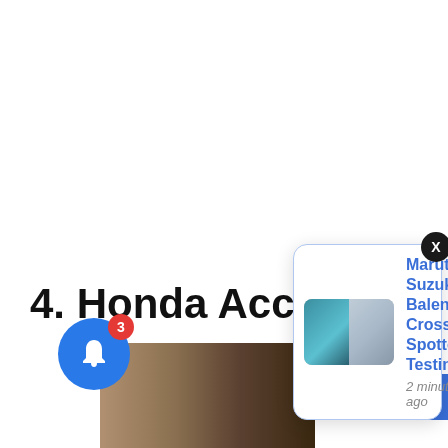4. Honda Accord
[Figure (screenshot): Notification popup showing 'Maruti Suzuki Baleno Cross Spotted Testing' with car thumbnail images and timestamp '2 minutes ago', with a close button and blue bell icon with badge count 3]
Maruti Suzuki Baleno Cross Spotted Testing
2 minutes ago